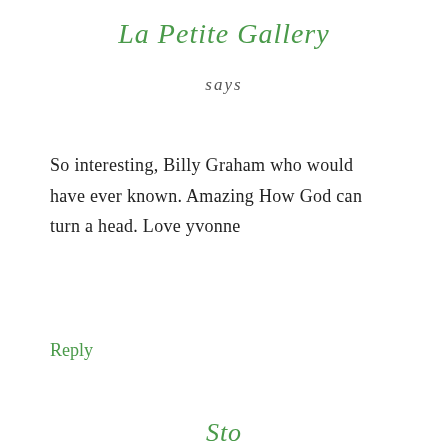La Petite Gallery
says
So interesting, Billy Graham who would have ever known. Amazing How God can turn a head. Love yvonne
Reply